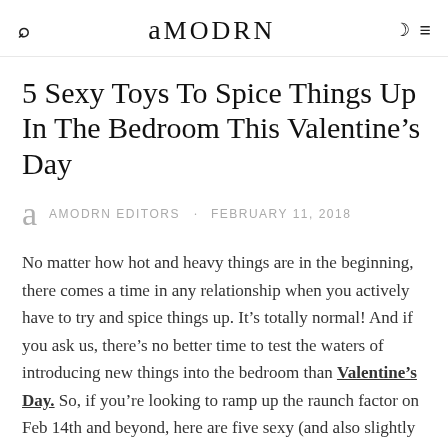amodrn
5 Sexy Toys To Spice Things Up In The Bedroom This Valentine’s Day
Amodrn Editors · February 11, 2018
No matter how hot and heavy things are in the beginning, there comes a time in any relationship when you actively have to try and spice things up. It’s totally normal! And if you ask us, there’s no better time to test the waters of introducing new things into the bedroom than Valentine’s Day. So, if you’re looking to ramp up the raunch factor on Feb 14th and beyond, here are five sexy (and also slightly hilarious) products to get your hands on.